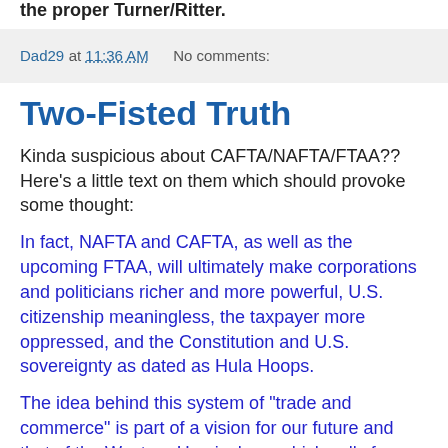the proper Turner/Ritter.
Dad29 at 11:36 AM    No comments:
Two-Fisted Truth
Kinda suspicious about CAFTA/NAFTA/FTAA?? Here's a little text on them which should provoke some thought:
In fact, NAFTA and CAFTA, as well as the upcoming FTAA, will ultimately make corporations and politicians richer and more powerful, U.S. citizenship meaningless, the taxpayer more oppressed, and the Constitution and U.S. sovereignty as dated as Hula Hoops.
The idea behind this system of "trade and commerce" is part of a vision for our future and that of the Western Hemisphere which calls for a super state. You and I will be represented by some handpicked clods fingered by the goofs at the CFR, Harvard, some K-Street suits, an investment group, politicians, or any combination of those who swim in the